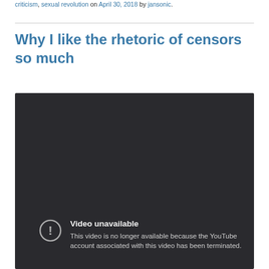criticism, sexual revolution on April 30, 2018 by jansonic.
Why I like the rhetoric of censors so much
[Figure (screenshot): Embedded YouTube video player showing 'Video unavailable' message. Dark background with an exclamation mark icon and text: 'Video unavailable. This video is no longer available because the YouTube account associated with this video has been terminated.']